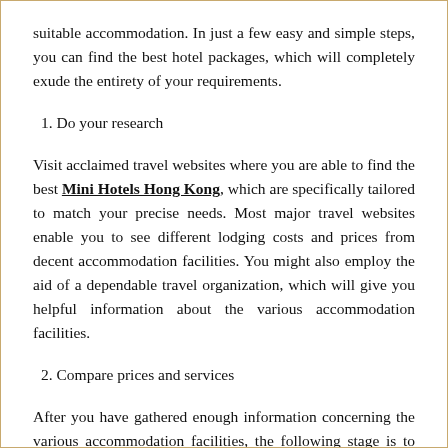suitable accommodation. In just a few easy and simple steps, you can find the best hotel packages, which will completely exude the entirety of your requirements.
1. Do your research
Visit acclaimed travel websites where you are able to find the best Mini Hotels Hong Kong, which are specifically tailored to match your precise needs. Most major travel websites enable you to see different lodging costs and prices from decent accommodation facilities. You might also employ the aid of a dependable travel organization, which will give you helpful information about the various accommodation facilities.
2. Compare prices and services
After you have gathered enough information concerning the various accommodation facilities, the following stage is to compare the costs and services offered in order to find the greatest arrangement that